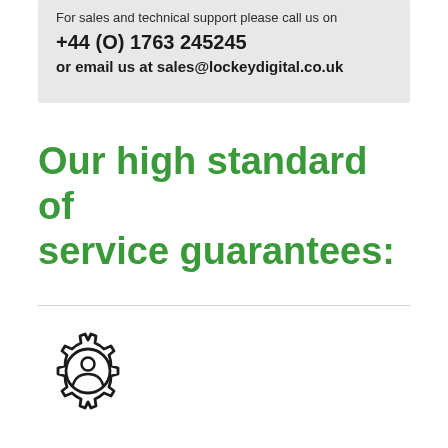For sales and technical support please call us on
+44 (O) 1763 245245
or email us at sales@lockeydigital.co.uk
Our high standard of service guarantees:
[Figure (illustration): Gear icon with a person silhouette inside, representing technical support or service]